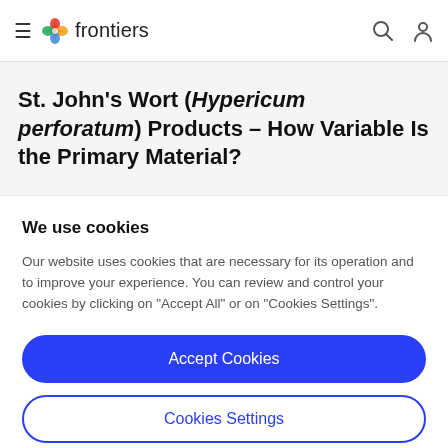frontiers
St. John's Wort (Hypericum perforatum) Products – How Variable Is the Primary Material?
We use cookies
Our website uses cookies that are necessary for its operation and to improve your experience. You can review and control your cookies by clicking on "Accept All" or on "Cookies Settings".
Accept Cookies
Cookies Settings